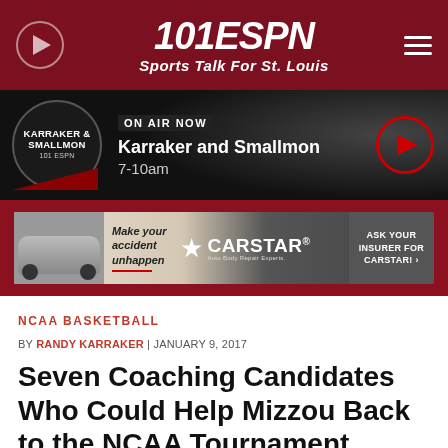[Figure (logo): 101 ESPN Sports Talk For St. Louis radio station header logo on dark red background with play button and hamburger menu]
[Figure (infographic): On Air Now banner showing Karraker and Smallmon show logo circle, show name, time 7-10am, and play button]
[Figure (photo): CARSTAR advertisement banner: Make your accident unhappen, CARSTAR Auto Body Repair Experts, Ask Your Insurer For CARSTAR!]
NCAA BASKETBALL
BY RANDY KARRAKER | JANUARY 9, 2017
Seven Coaching Candidates Who Could Help Mizzou Back to the NCAA Tournament